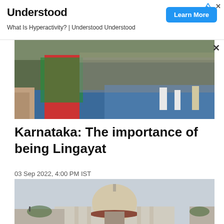[Figure (screenshot): Advertisement banner for 'Understood' — What Is Hyperactivity? | Understood Understood, with a blue 'Learn More' button]
[Figure (photo): A person in red and green clothing addressing a large crowd at a political rally on a blue-floored stage]
Karnataka: The importance of being Lingayat
03 Sep 2022, 4:00 PM IST
[Figure (photo): Supreme Court of India building dome visible under cloudy sky]